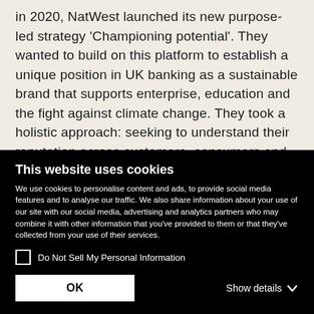in 2020, NatWest launched its new purpose-led strategy 'Championing potential'. They wanted to build on this platform to establish a unique position in UK banking as a sustainable brand that supports enterprise, education and the fight against climate change. They took a holistic approach: seeking to understand their reputation across customers, consumers and key opinion formers. Kantar supported NatWest in designing an industry-wide Reputation Tracker to track the outcomes of stakeholder engagement, progress towards objectives and
This website uses cookies
We use cookies to personalise content and ads, to provide social media features and to analyse our traffic. We also share information about your use of our site with our social media, advertising and analytics partners who may combine it with other information that you've provided to them or that they've collected from your use of their services.
Do Not Sell My Personal Information
OK | Show details